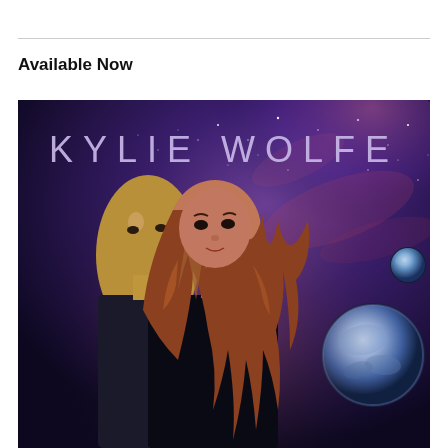Available Now
[Figure (illustration): Book cover for 'Kylie Wolfe' featuring two young people (a male and female) in front of a purple cosmic space background with a planet visible. The title 'KYLIE WOLFE' is displayed in large purple/lavender spaced letters at the top of the cover.]